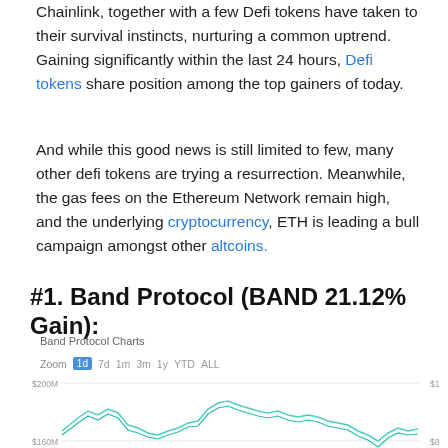Chainlink, together with a few Defi tokens have taken to their survival instincts, nurturing a common uptrend. Gaining significantly within the last 24 hours, Defi tokens share position among the top gainers of today.
And while this good news is still limited to few, many other defi tokens are trying a resurrection. Meanwhile, the gas fees on the Ethereum Network remain high, and the underlying cryptocurrency, ETH is leading a bull campaign amongst other altcoins.
#1. Band Protocol (BAND 21.12% Gain):
[Figure (continuous-plot): Band Protocol Charts line chart showing price and volume over 1-day period. Two teal/cyan lines showing price movement around $13.00 range with a peak and then decline toward $8.00. Y-axis shows $200M and $160M volume labels on left, $13.00 and $8.00 price on right. Zoom options: 1d (active), 7d, 1m, 3m, 1y, YTD, ALL.]